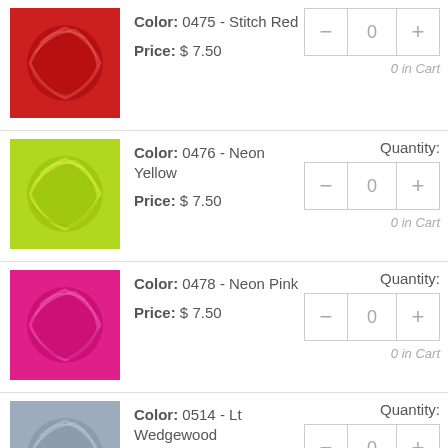[Figure (photo): Skein of red yarn]
Color: 0475 - Stitch Red
Price: $7.50
0 in Cart
Quantity:
[Figure (photo): Skein of neon yellow yarn]
Color: 0476 - Neon Yellow
Price: $7.50
0 in Cart
Quantity:
[Figure (photo): Skein of neon pink yarn]
Color: 0478 - Neon Pink
Price: $7.50
0 in Cart
Quantity:
[Figure (photo): Skein of light wedgewood blue yarn]
Color: 0514 - Lt Wedgewood
Price: $7.50
0 in Cart